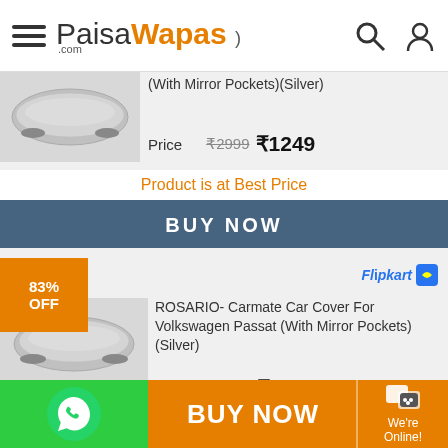PaisaWapas.com
(With Mirror Pockets)(Silver)
Price ₹2999 ₹1249
Product is at Best Price
BUY NOW
83% OFF
Flipkart
ROSARIO- Carmate Car Cover For Volkswagen Passat (With Mirror Pockets)(Silver)
Price ₹3800 ₹644
Product is at Best Price
BUY NOW
BUY NOW
We're Online!